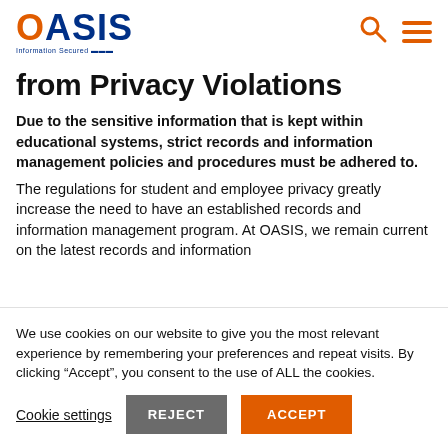OASIS Information Secured
from Privacy Violations
Due to the sensitive information that is kept within educational systems, strict records and information management policies and procedures must be adhered to.
The regulations for student and employee privacy greatly increase the need to have an established records and information management program. At OASIS, we remain current on the latest records and information
We use cookies on our website to give you the most relevant experience by remembering your preferences and repeat visits. By clicking “Accept”, you consent to the use of ALL the cookies.
Cookie settings | REJECT | ACCEPT